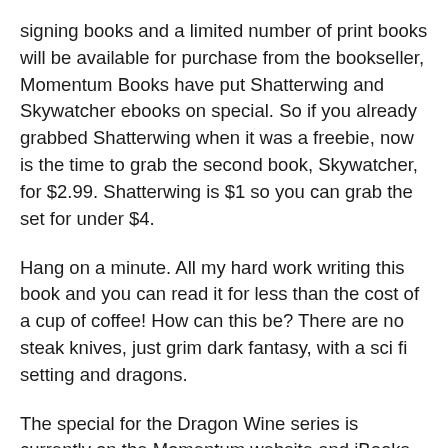signing books and a limited number of print books will be available for purchase from the bookseller, Momentum Books have put Shatterwing and Skywatcher ebooks on special. So if you already grabbed Shatterwing when it was a freebie, now is the time to grab the second book, Skywatcher, for $2.99. Shatterwing is $1 so you can grab the set for under $4.
Hang on a minute. All my hard work writing this book and you can read it for less than the cost of a cup of coffee! How can this be? There are no steak knives, just grim dark fantasy, with a sci fi setting and dragons.
The special for the Dragon Wine series is currently on the Momentum website and iBooks (today) but it will filter through to other platforms. So it would be great for you to have a read and then come see me and say hello.